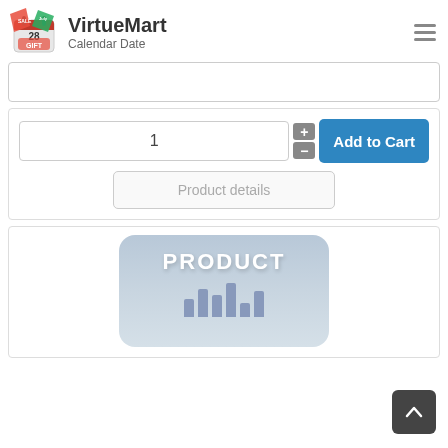[Figure (logo): VirtueMart Calendar Date logo with icon showing calendar/gift/sale tags and text 'VirtueMart Calendar Date']
[Figure (screenshot): Empty white input/search box]
[Figure (screenshot): Quantity input showing '1', plus/minus buttons, blue 'Add to Cart' button, and 'Product details' button]
[Figure (screenshot): Product card with placeholder image showing 'PRODUCT' text and bar chart graphic, partially visible]